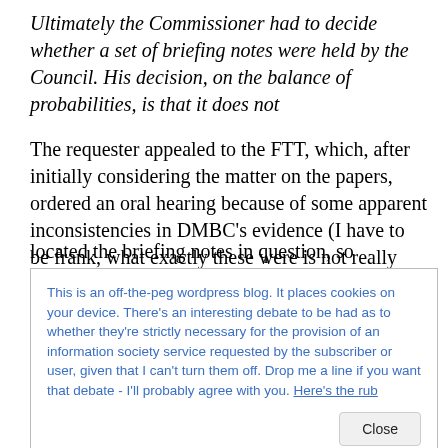Ultimately the Commissioner had to decide whether a set of briefing notes were held by the Council. His decision, on the balance of probabilities, is that it does not
The requester appealed to the FTT, which, after initially considering the matter on the papers, ordered an oral hearing because of some apparent inconsistencies in DMBC's evidence (I have to be frank, what exactly these were is not really clear from the FTT's judgment (at paragraph 27). However, prior to that oral hearing DMBC located the briefing notes in question, so
This is an off-the-peg wordpress blog. It places cookies on your device. There's an interesting debate to be had as to whether they're strictly necessary for the provision of an information society service requested by the subscriber or user, given that I can't turn them off. Drop me a line if you want that debate - I'll probably agree with you. Here's the rub
the Information Commissioner's enquiries prior to his